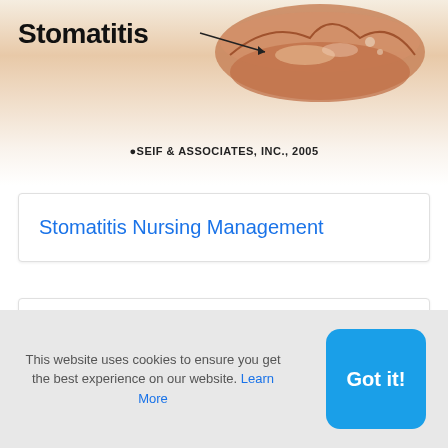[Figure (illustration): Illustration of lips/mouth labeled with 'Stomatitis' and an arrow pointing to the lip area. Copyright notice: SEIF & ASSOCIATES, INC., 2005]
Stomatitis Nursing Management
Rhytidectomy
This website uses cookies to ensure you get the best experience on our website. Learn More